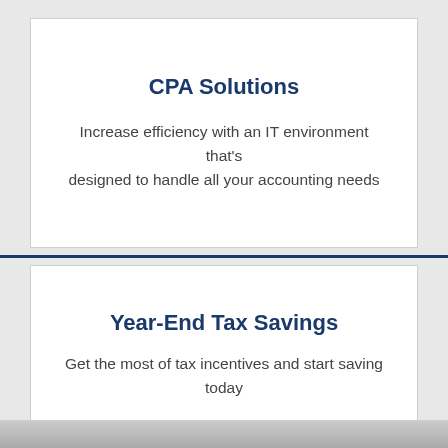CPA Solutions
Increase efficiency with an IT environment that's designed to handle all your accounting needs
Year-End Tax Savings
Get the most of tax incentives and start saving today